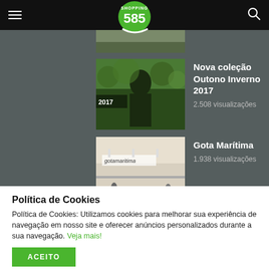Shopping 585 - Navigation bar with hamburger menu, logo, and search icon
[Figure (photo): Fashion model with autumn/winter 2017 collection text overlay, outdoors]
Nova coleção Outono Inverno 2017
2.508 visualizações
[Figure (photo): Gota Marítima store interior/exterior with brand sign visible]
Gota Marítima
1.938 visualizações
Política de Cookies
Política de Cookies: Utilizamos cookies para melhorar sua experiência de navegação em nosso site e oferecer anúncios personalizados durante a sua navegação. Veja mais!